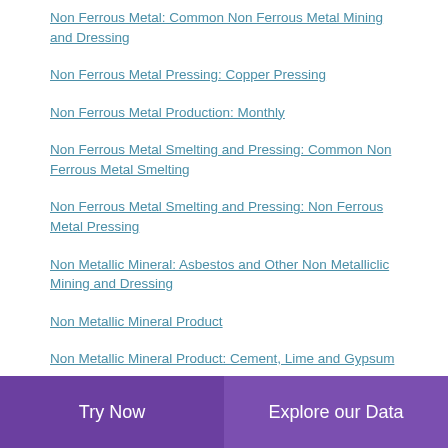Non Ferrous Metal: Common Non Ferrous Metal Mining and Dressing
Non Ferrous Metal Pressing: Copper Pressing
Non Ferrous Metal Production: Monthly
Non Ferrous Metal Smelting and Pressing: Common Non Ferrous Metal Smelting
Non Ferrous Metal Smelting and Pressing: Non Ferrous Metal Pressing
Non Metallic Mineral: Asbestos and Other Non Metalliclic Mining and Dressing
Non Metallic Mineral Product
Non Metallic Mineral Product: Cement, Lime and Gypsum
Non Metallic Mineral Product: Glass
Non Metallic Mineral Product: Glass Product
Try Now  |  Explore our Data